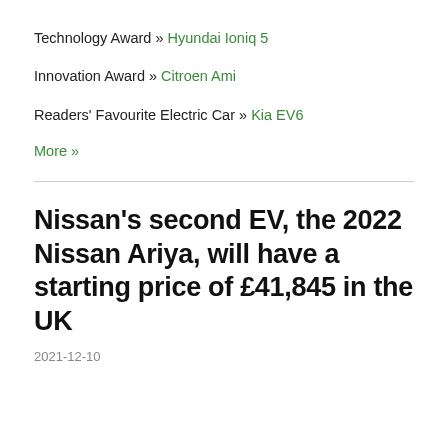Technology Award » Hyundai Ioniq 5
Innovation Award » Citroen Ami
Readers' Favourite Electric Car » Kia EV6
More »
Nissan's second EV, the 2022 Nissan Ariya, will have a starting price of £41,845 in the UK
2021-12-10